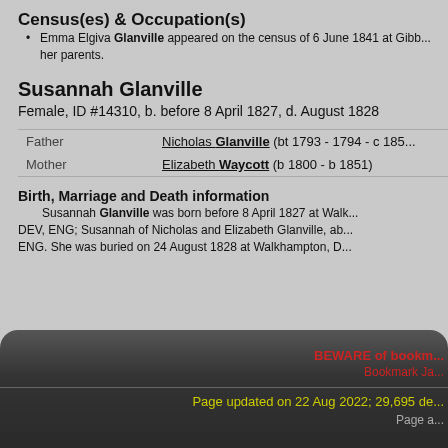Census(es) & Occupation(s)
Emma Elgiva Glanville appeared on the census of 6 June 1841 at Gibb... her parents.
Susannah Glanville
Female, ID #14310, b. before 8 April 1827, d. August 1828
|  |  |
| --- | --- |
| Father | Nicholas Glanville (bt 1793 - 1794 - c 185... |
| Mother | Elizabeth Waycott (b 1800 - b 1851) |
Birth, Marriage and Death information
Susannah Glanville was born before 8 April 1827 at Walk... DEV, ENG; Susannah of Nicholas and Elizabeth Glanville, ab... ENG. She was buried on 24 August 1828 at Walkhampton, D...
BEWARE of bookm... Bookmark Ja... Page updated on 22 Aug 2022; 29,695 de... Page a...